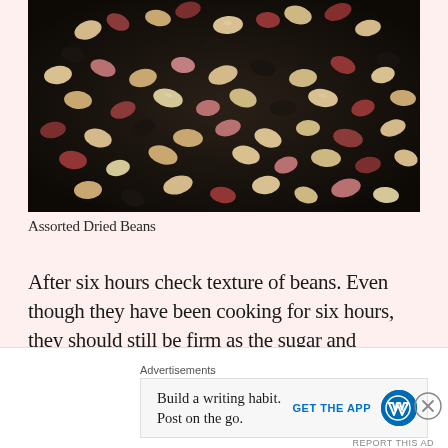[Figure (photo): Close-up photograph of assorted dried beans of various colors and sizes including black, red, tan, and speckled varieties piled together on a dark surface.]
Assorted Dried Beans
After six hours check texture of beans. Even though they have been cooking for six hours, they should still be firm as the sugar and molasses keep them that way. Depending on the texture you observe after six hours, you can turn them off or continue cooking for another 2 hours.
Advertisements
Build a writing habit. Post on the go.
GET THE APP